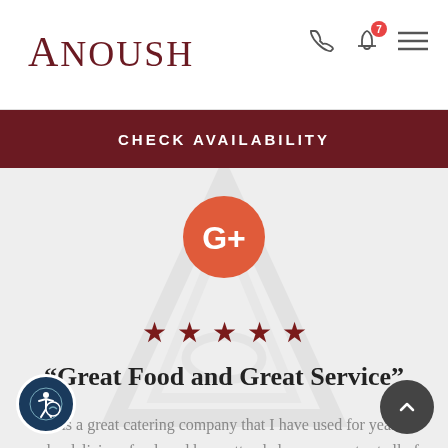Anoush
CHECK AVAILABILITY
[Figure (logo): Google+ (G+) circular logo icon in orange-red]
[Figure (infographic): Five dark red star rating icons]
“Great Food and Great Service”
This is a great catering company that I have used for years to order delicious food, and have attended many events at all of Anoush’s banquet halls. Great food and great ser all